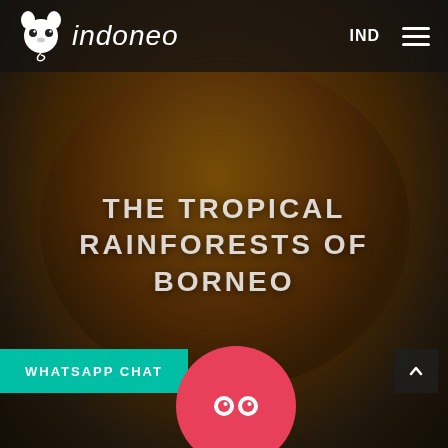[Figure (photo): Background photo of a golden/orange tree frog on a dark rocky surface, filling the entire page]
indoneo   IND   ☰
THE TROPICAL RAINFORESTS OF BORNEO
WHATSAPP CHAT
[Figure (logo): Pink/red circular button at bottom center with a white owl/tarsier mascot icon (Indoneo logo)]
[Figure (other): Dark scroll-to-top button at bottom right with upward chevron arrow]